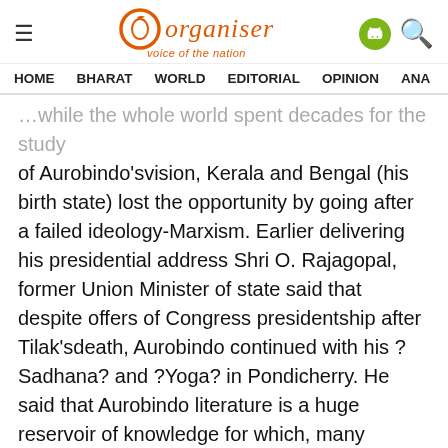Organiser — voice of the nation
HOME   BHARAT   WORLD   EDITORIAL   OPINION   ANA
...while the whole world spent decades for the study of Aurobindo'svision, Kerala and Bengal (his birth state) lost the opportunity by going after a failed ideology-Marxism. Earlier delivering his presidential address Shri O. Rajagopal, former Union Minister of state said that despite offers of Congress presidentship after Tilak'sdeath, Aurobindo continued with his ?Sadhana? and ?Yoga? in Pondicherry. He said that Aurobindo literature is a huge reservoir of knowledge for which, many western universities have set up chairs to explore. Dr. Vasudevan, K. Raman Pillai, Col. Chandran also spoke on the occasion.